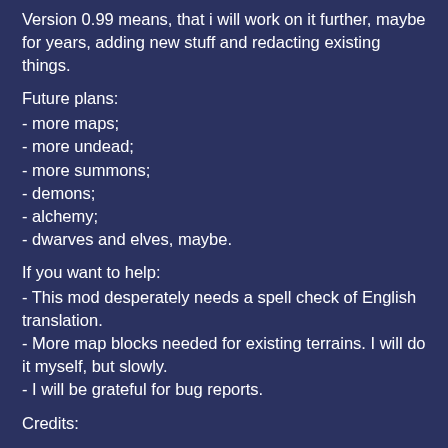Version 0.99 means, that i will work on it further, maybe for years, adding new stuff and redacting existing things.
Future plans:
- more maps;
- more undead;
- more summons;
- demons;
- alchemy;
- dwarves and elves, maybe.
If you want to help:
- This mod desperately needs a spell check of English translation.
- More map blocks needed for existing terrains. I will do it myself, but slowly.
- I will be grateful for bug reports.
Credits:
All X-Com resources belongs to X-Com franchise owners (Take-Two Interactive, i think)
All other is under CC NC BY SA, as mr.Hobbes insisted.